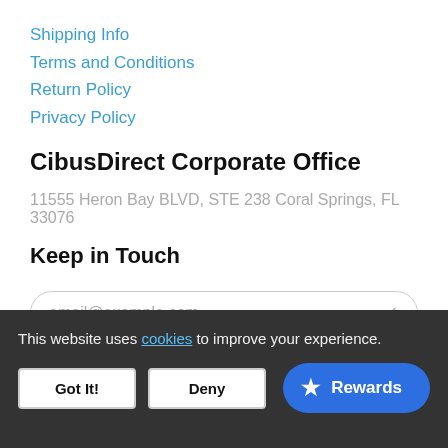Shipping Info
Terms and Conditions
Return Policy
Privacy Policy
CibusDirect Corporate Office
11555 Heron Bay BLVD, STE 238 Coral Springs, FL 33076
Keep in Touch
email@example.com
This website uses cookies to improve your experience.
Got It!
Deny
Rewards